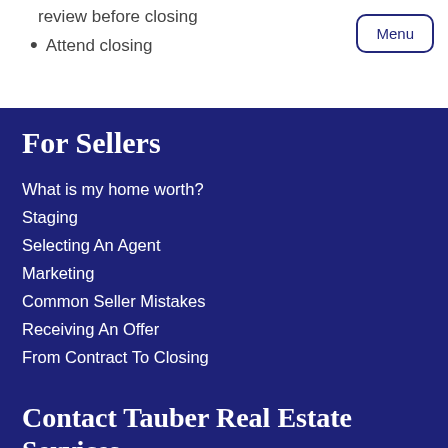review before closing
Attend closing
For Sellers
What is my home worth?
Staging
Selecting An Agent
Marketing
Common Seller Mistakes
Receiving An Offer
From Contract To Closing
Contact Tauber Real Estate Services
for assistance with buying or selling
Call 561-626-4633
Full Name